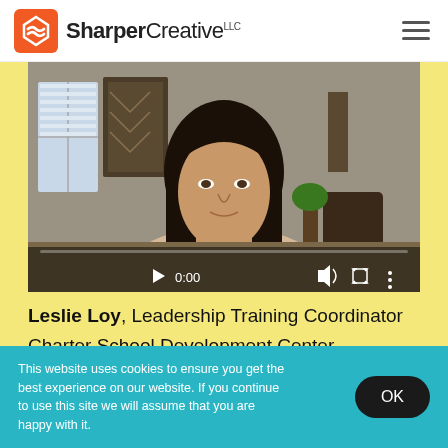SharperCreative LLC
[Figure (screenshot): Video player showing a woman with long dark hair sitting in a home office. Video controls show 0:00 timestamp with play button, volume icon, fullscreen icon, and more options icon. A progress bar is visible at the bottom of the video.]
Leslie Loy, Leadership Training Coordinator
Charter School Development Center
This website uses cookies to ensure you get the best experience on our website. If you continue to use this site we will assume that you are happy with it.